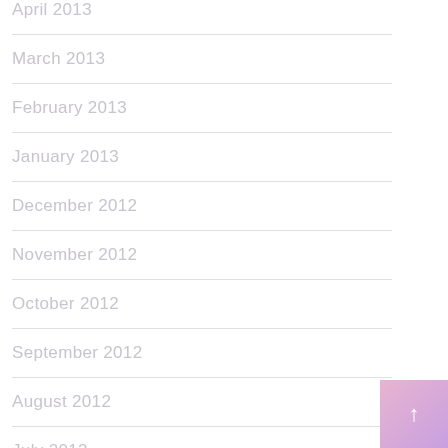April 2013
March 2013
February 2013
January 2013
December 2012
November 2012
October 2012
September 2012
August 2012
July 2012
June 2012